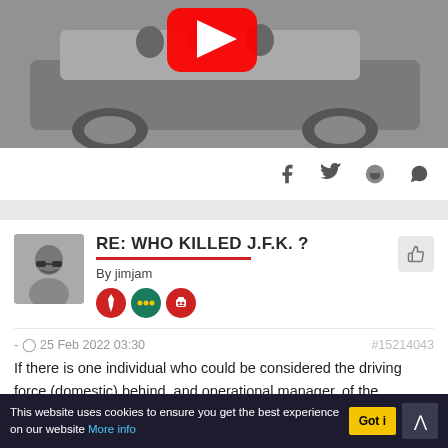[Figure (screenshot): YouTube video thumbnail showing a black-and-white photo of a car (JFK limousine), with a red YouTube play button overlay]
Share icons: Facebook, Twitter, Reddit, WhatsApp
RE: WHO KILLED J.F.K. ?
By jimjam
- 25 Feb 2022 03:30
#15214043
If there is one individual who could be considered the driving force (domestic) behind, and operational manager, of the assassination of President John F. Kennedy, Allen Dulles is the
This website uses cookies to ensure you get the best experience on our website More info